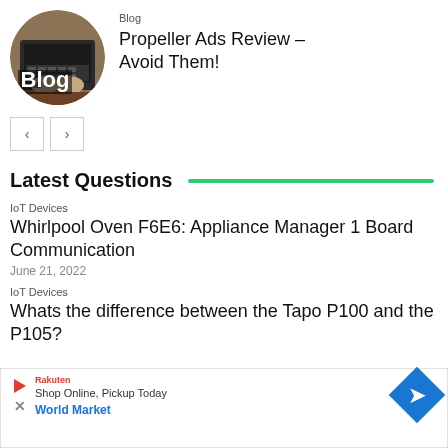[Figure (illustration): Circular blog image showing hands on a laptop keyboard with 'Blog' text overlay in white bold letters]
Blog
Propeller Ads Review – Avoid Them!
[Figure (other): Navigation previous/next arrow buttons (< and >)]
Latest Questions
IoT Devices
Whirlpool Oven F6E6: Appliance Manager 1 Board Communication
June 21, 2022
IoT Devices
Whats the difference between the Tapo P100 and the P105?
[Figure (screenshot): Advertisement overlay showing 'Shop Online, Pickup Today', 'World Market' link, play button, X close button, and blue diamond arrow icon]